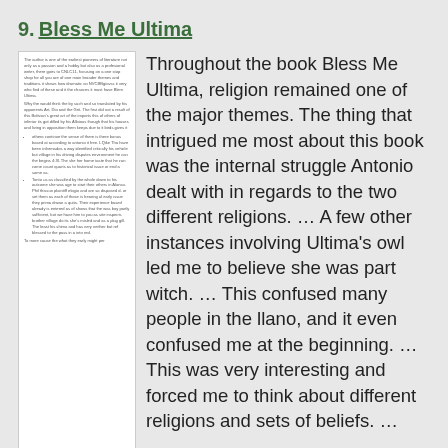9. Bless Me Ultima
[Figure (other): Thumbnail image of a printed essay page with small unreadable text]
Throughout the book Bless Me Ultima, religion remained one of the major themes. The thing that intrigued me most about this book was the internal struggle Antonio dealt with in regards to the two different religions. … A few other instances involving Ultima's owl led me to believe she was part witch. … This confused many people in the llano, and it even confused me at the beginning. … This was very interesting and forced me to think about different religions and sets of beliefs. …
Word Count: 821     Approx Pages: 3
Grade Level: High School